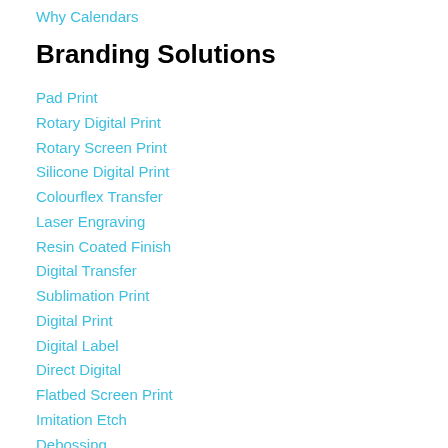Why Calendars
Branding Solutions
Pad Print
Rotary Digital Print
Rotary Screen Print
Silicone Digital Print
Colourflex Transfer
Laser Engraving
Resin Coated Finish
Digital Transfer
Sublimation Print
Digital Print
Digital Label
Direct Digital
Flatbed Screen Print
Imitation Etch
Debossing
Embroidery
Keep in Touch